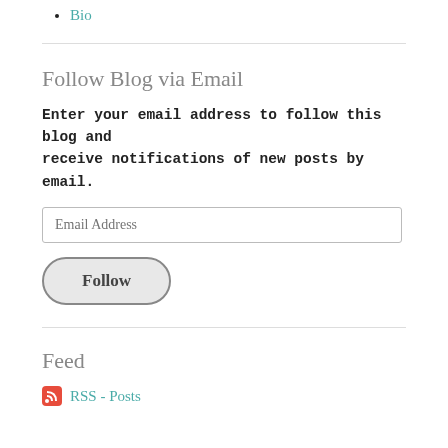Bio
Follow Blog via Email
Enter your email address to follow this blog and receive notifications of new posts by email.
Feed
RSS - Posts